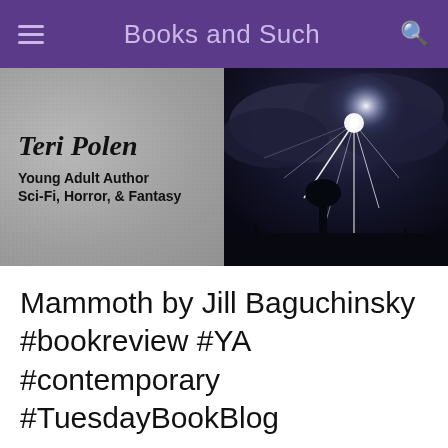Books and Such
[Figure (illustration): Website banner with two halves: left shows textured gray background with author name 'Teri Polen, Young Adult Author, Sci-Fi, Horror, & Fantasy'; right shows dramatic dark stormy sky with lightning and tree silhouette]
Mammoth by Jill Baguchinsky #bookreview #YA #contemporary #TuesdayBookBlog